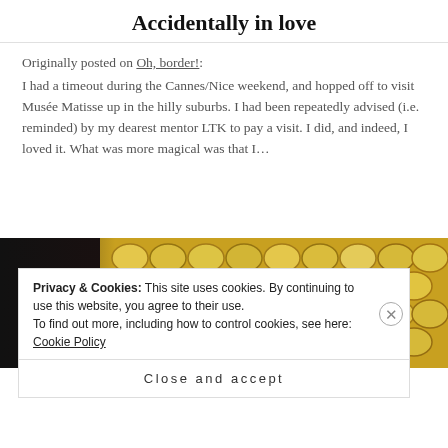Accidentally in love
Originally posted on Oh, border!:
I had a timeout during the Cannes/Nice weekend, and hopped off to visit Musée Matisse up in the hilly suburbs. I had been repeatedly advised (i.e. reminded) by my dearest mentor LTK to pay a visit. I did, and indeed, I loved it. What was more magical was that I…
[Figure (photo): Close-up photograph of corn kernels against a dark background]
Privacy & Cookies: This site uses cookies. By continuing to use this website, you agree to their use.
To find out more, including how to control cookies, see here: Cookie Policy
Close and accept